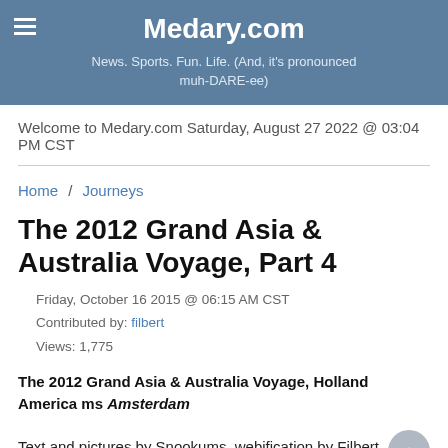Medary.com
News. Sports. Fun. Life. (And, it's pronounced muh-DARE-ee)
Welcome to Medary.com Saturday, August 27 2022 @ 03:04 PM CST
Home / Journeys
The 2012 Grand Asia & Australia Voyage, Part 4
Friday, October 16 2015 @ 06:15 AM CST
Contributed by: filbert
Views: 1,775
The 2012 Grand Asia & Australia Voyage, Holland America ms Amsterdam
Text and pictures by Snookums, webification by Filbert
Part Four